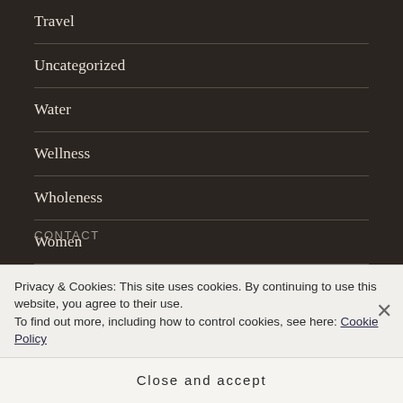Travel
Uncategorized
Water
Wellness
Wholeness
Women
CONTACT
Privacy & Cookies: This site uses cookies. By continuing to use this website, you agree to their use.
To find out more, including how to control cookies, see here: Cookie Policy
Close and accept